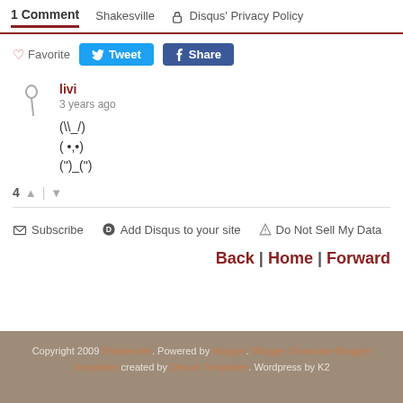1 Comment   Shakesville   🔒 Disqus' Privacy Policy
♡ Favorite   Tweet   Share
livi
3 years ago
(\_/)
( •,•)
(")_(")
4 ▲ | ▼
✉ Subscribe   D Add Disqus to your site   ⚠ Do Not Sell My Data
Back | Home | Forward
Copyright 2009 Shakesville. Powered by Blogger. Blogger Showcase Blogger Templates created by Deluxe Templates. Wordpress by K2